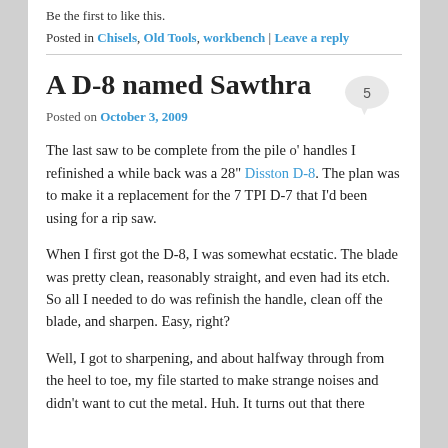Be the first to like this.
Posted in Chisels, Old Tools, workbench | Leave a reply
A D-8 named Sawthra
Posted on October 3, 2009
The last saw to be complete from the pile o' handles I refinished a while back was a 28" Disston D-8. The plan was to make it a replacement for the 7 TPI D-7 that I'd been using for a rip saw.
When I first got the D-8, I was somewhat ecstatic. The blade was pretty clean, reasonably straight, and even had its etch. So all I needed to do was refinish the handle, clean off the blade, and sharpen. Easy, right?
Well, I got to sharpening, and about halfway through from the heel to toe, my file started to make strange noises and didn't want to cut the metal. Huh. It turns out that there